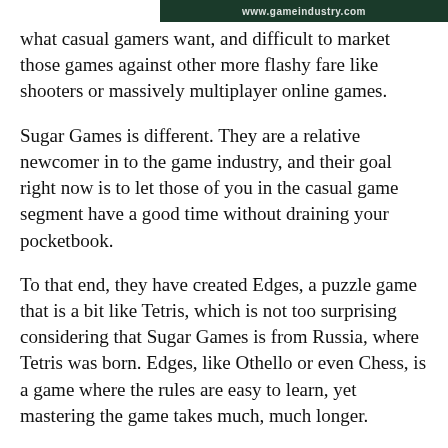www.gameindustry.com
what casual gamers want, and difficult to market those games against other more flashy fare like shooters or massively multiplayer online games.
Sugar Games is different. They are a relative newcomer in to the game industry, and their goal right now is to let those of you in the casual game segment have a good time without draining your pocketbook.
To that end, they have created Edges, a puzzle game that is a bit like Tetris, which is not too surprising considering that Sugar Games is from Russia, where Tetris was born. Edges, like Othello or even Chess, is a game where the rules are easy to learn, yet mastering the game takes much, much longer.
Since this is aimed at the casual game market, the controls are very simple, and the price is low as well. In fact, you can also play for a good reason of the game and to it, so if...